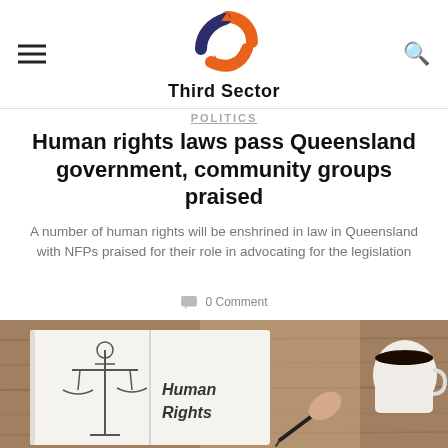Third Sector
POLITICS
Human rights laws pass Queensland government, community groups praised
A number of human rights will be enshrined in law in Queensland with NFPs praised for their role in advocating for the legislation
0 Comment
[Figure (photo): An open notebook with a drawing of scales of justice on the left page and the words 'Human Rights' written on the right page, placed on a wooden table with a cup of coffee in the background and a hand holding a pen.]